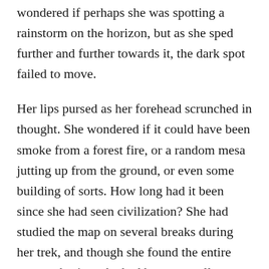wondered if perhaps she was spotting a rainstorm on the horizon, but as she sped further and further towards it, the dark spot failed to move.
Her lips pursed as her forehead scrunched in thought. She wondered if it could have been smoke from a forest fire, or a random mesa jutting up from the ground, or even some building of sorts. How long had it been since she had seen civilization? She had studied the map on several breaks during her trek, and though she found the entire process boring, she had become well acquainted with many countries lying on the far right edge of her illustrated guide.
In the middle of her pondering, she was interrupted by the horrible sensation of her eyes forcibly rolling back in her head. Rainbow Dash's entire world jolted as her